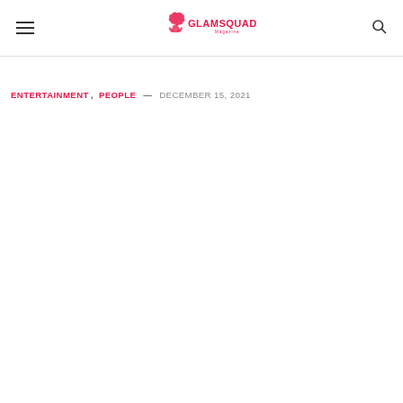GLAMSQUAD Magazine — Navigation header with hamburger menu and search icon
ENTERTAINMENT, PEOPLE — DECEMBER 15, 2021